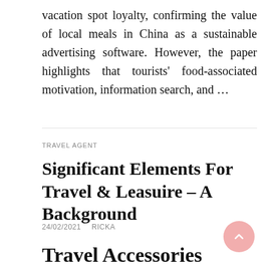vacation spot loyalty, confirming the value of local meals in China as a sustainable advertising software. However, the paper highlights that tourists' food-associated motivation, information search, and ...
TRAVEL AGENT
Significant Elements For Travel & Leasuire – A Background
24/02/2021   RICKA
Travel Accessories